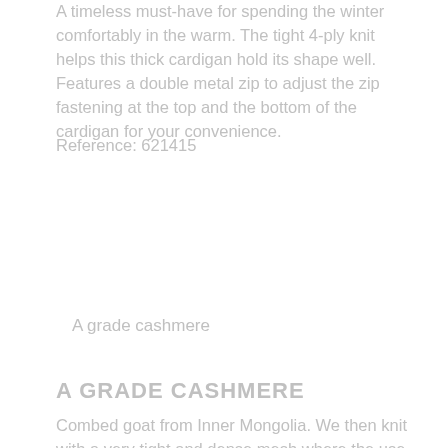A timeless must-have for spending the winter comfortably in the warm. The tight 4-ply knit helps this thick cardigan hold its shape well. Features a double metal zip to adjust the zip fastening at the top and the bottom of the cardigan for your convenience.
Reference: 621415
A grade cashmere
A GRADE CASHMERE
Combed goat from Inner Mongolia. We then knit with a very tight and dense mesh where the use